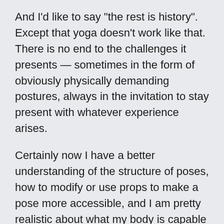And I'd like to say "the rest is history". Except that yoga doesn't work like that. There is no end to the challenges it presents — sometimes in the form of obviously physically demanding postures, always in the invitation to stay present with whatever experience arises.
Certainly now I have a better understanding of the structure of poses, how to modify or use props to make a pose more accessible, and I am pretty realistic about what my body is capable of. But despite much greater technical knowledge, that doesn't mean I don't still get occasional flare-ups of anger, frustration, confusion, fear and so on on. And they aren't necessarily in physically demanding classes, they can pop up suddenly in a restorative practice too. There's nothing like stillness and quiet to unleash some of your old emotional gremlins when you least expect it. These days I'm unlikely to